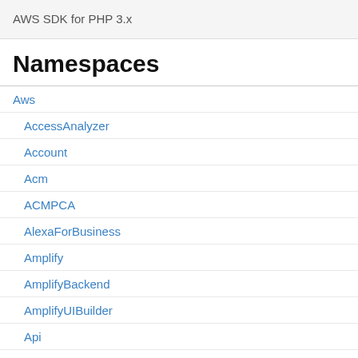AWS SDK for PHP 3.x
Namespaces
Aws
AccessAnalyzer
Account
Acm
ACMPCA
AlexaForBusiness
Amplify
AmplifyBackend
AmplifyUIBuilder
Api
ApiGateway
ApiGatewayManagementApi
Type: int
The maximum numb this parameter with set of sequential pa
Location
Type: string
A fleet location to ge specify a fleet's hon location. Use the Ar code format, such a
NextToken